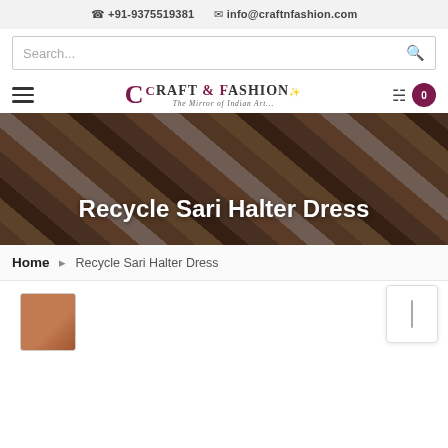+91-9375519381  info@craftnfashion.com
Search...
[Figure (logo): Craft & Fashion logo with tagline 'The Mirror of Indian Art...']
Recycle Sari Halter Dress
Home > Recycle Sari Halter Dress